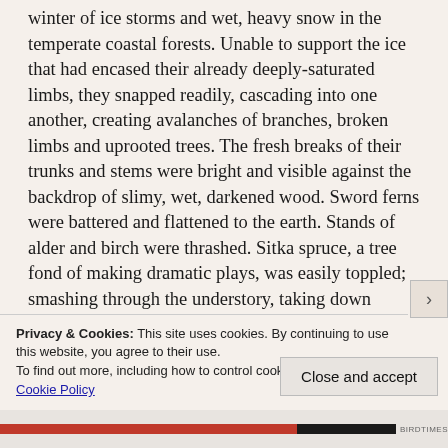winter of ice storms and wet, heavy snow in the temperate coastal forests. Unable to support the ice that had encased their already deeply-saturated limbs, they snapped readily, cascading into one another, creating avalanches of branches, broken limbs and uprooted trees. The fresh breaks of their trunks and stems were bright and visible against the backdrop of slimy, wet, darkened wood. Sword ferns were battered and flattened to the earth. Stands of alder and birch were thrashed. Sitka spruce, a tree fond of making dramatic plays, was easily toppled; smashing through the understory, taking down
Privacy & Cookies: This site uses cookies. By continuing to use this website, you agree to their use.
To find out more, including how to control cookies, see here: Cookie Policy
Close and accept